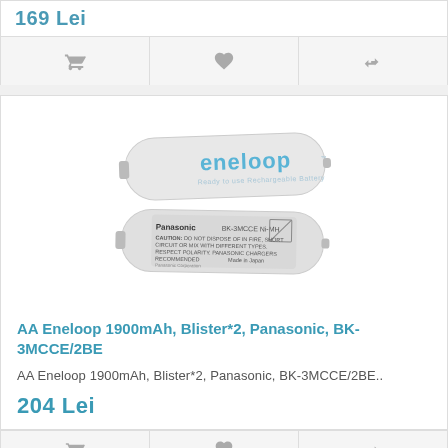169 Lei
[Figure (other): Icon row: shopping cart, heart, compare arrows]
[Figure (photo): Two Panasonic Eneloop AAA/AA rechargeable batteries, white with blue eneloop branding, stacked]
AA Eneloop 1900mAh, Blister*2, Panasonic, BK-3MCCE/2BE
AA Eneloop 1900mAh, Blister*2, Panasonic, BK-3MCCE/2BE..
204 Lei
[Figure (other): Icon row: shopping cart, heart, compare arrows (bottom)]